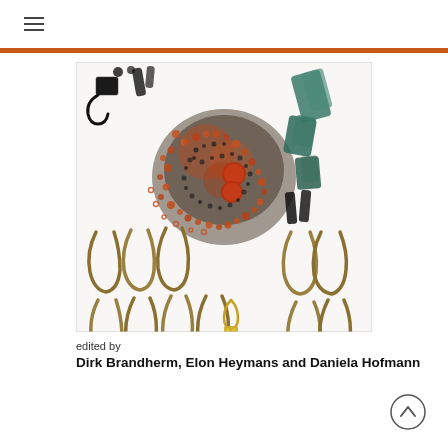≡
[Figure (photo): Archaeological artefacts laid out on white background: numerous bronze crescent-shaped earrings, carnelian and dark glass beads scattered in a pile, teal-coloured corroded metal fragments, black metal pin/clasp-like objects, and one elaborate gold decorated pendant.]
edited by
Dirk Brandherm, Elon Heymans and Daniela Hofmann